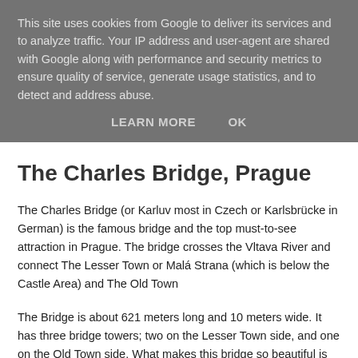This site uses cookies from Google to deliver its services and to analyze traffic. Your IP address and user-agent are shared with Google along with performance and security metrics to ensure quality of service, generate usage statistics, and to detect and address abuse.
LEARN MORE   OK
The Charles Bridge, Prague
The Charles Bridge (or Karluv most in Czech or Karlsbrücke in German) is the famous bridge and the top must-to-see attraction in Prague. The bridge crosses the Vltava River and connect The Lesser Town or Malá Strana (which is below the Castle Area) and The Old Town
The Bridge is about 621 meters long and 10 meters wide. It has three bridge towers; two on the Lesser Town side, and one on the Old Town side. What makes this bridge so beautiful is the statues. There are 30 of them standing on both left and right side of the bridge. They give the feeling as if they're watching everyone who crosses the bridge.